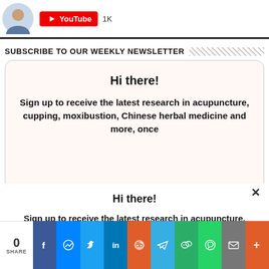[Figure (screenshot): User avatar photo (man with beard) and YouTube subscribe button showing 1K subscribers]
SUBSCRIBE TO OUR WEEKLY NEWSLETTER
Hi there!
Sign up to receive the latest research in acupuncture, cupping, moxibustion, Chinese herbal medicine and more, once
Hi there!
Sign up to receive the latest research in acupuncture, cupping, moxibustion, Chinese herbal medicine and more, once
[Figure (screenshot): Social share bar with 0 shares and icons for Facebook, Messenger, Twitter, LinkedIn, Reddit, Telegram, WeChat, WhatsApp, Email, and More]